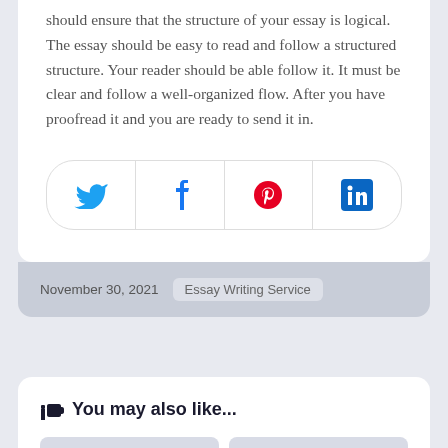should ensure that the structure of your essay is logical. The essay should be easy to read and follow a structured structure. Your reader should be able follow it. It must be clear and follow a well-organized flow. After you have proofread it and you are ready to send it in.
[Figure (infographic): Social sharing bar with four icons: Twitter (blue bird), Facebook (blue F), Pinterest (red P), LinkedIn (blue 'in')]
November 30, 2021  Essay Writing Service
You may also like...
[Figure (infographic): Two grey thumbnail placeholder boxes side by side for related articles]